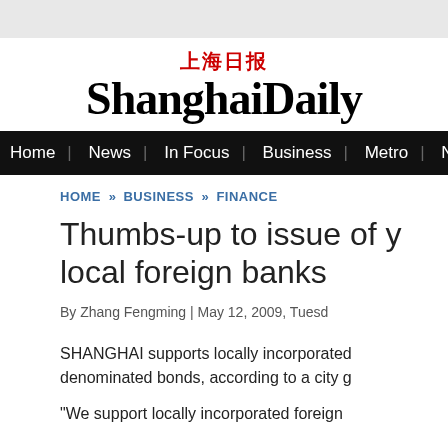上海日报 ShanghaiDaily
Home | News | In Focus | Business | Metro | Nation | Worl
HOME » BUSINESS » FINANCE
Thumbs-up to issue of y local foreign banks
By Zhang Fengming | May 12, 2009, Tuesd
SHANGHAI supports locally incorporated denominated bonds, according to a city g
"We support locally incorporated foreign